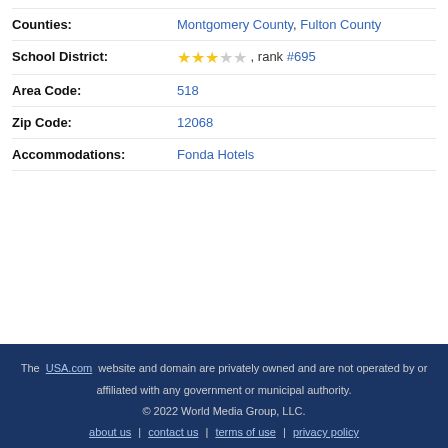Counties: Montgomery County, Fulton County
School District: ★★★☆☆, rank #695
Area Code: 518
Zip Code: 12068
Accommodations: Fonda Hotels
The USA.com website and domain are privately owned and are not operated by or affiliated with any government or municipal authority. © 2022 World Media Group, LLC. about us | contact us | terms of use | privacy policy